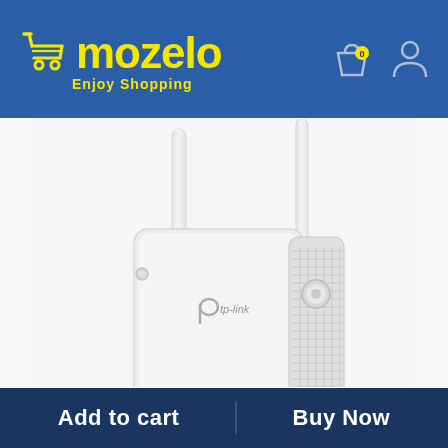mozelo — Enjoy Shopping
[Figure (photo): A TP-Link WiFi range extender with two external antennas, white color, photographed from an angle showing the front and side with vented grille and WPS button.]
Add to cart    Buy Now